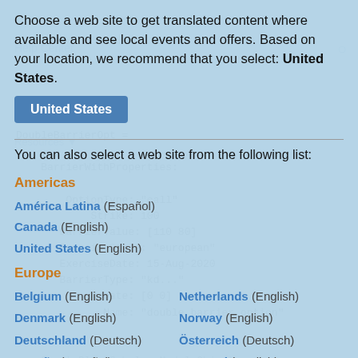[Figure (screenshot): A modal overlay dialog on a MathWorks Help Center page showing a website selector. The background shows code (DoubleBarrierOpt structure). The dialog prompts the user to select a web site for translated content, recommending United States. A blue 'United States' button is shown. Below the dialog content, a list of regions and countries is shown.]
Choose a web site to get translated content where available and see local events and offers. Based on your location, we recommend that you select: United States.
You can also select a web site from the following list:
Americas
América Latina (Español)
Canada (English)
United States (English)
Europe
Belgium (English)
Netherlands (English)
Denmark (English)
Norway (English)
Deutschland (Deutsch)
Österreich (Deutsch)
España (Español)
Portugal (English)